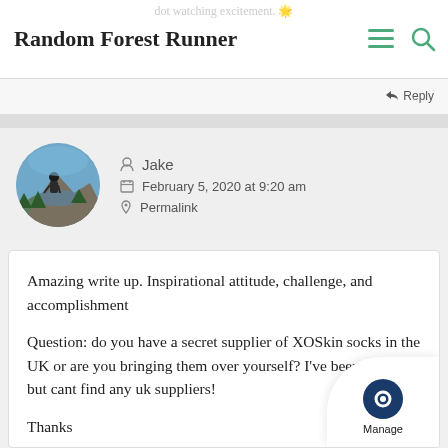dot watching excitement. 🌟
Random Forest Runner
↩ Reply
Jake
February 5, 2020 at 9:20 am
Permalink
Amazing write up. Inspirational attitude, challenge, and accomplishment

Question: do you have a secret supplier of XOSkin socks in the UK or are you bringing them over yourself? I've been looking but cant find any uk suppliers!

Thanks